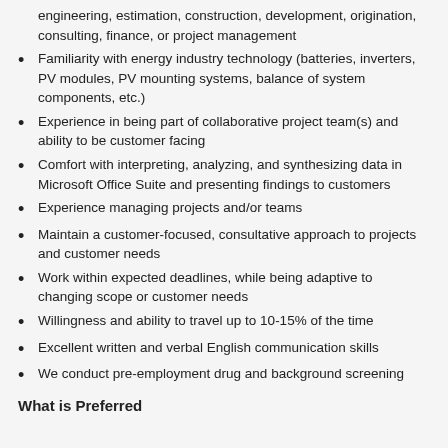engineering, estimation, construction, development, origination, consulting, finance, or project management
Familiarity with energy industry technology (batteries, inverters, PV modules, PV mounting systems, balance of system components, etc.)
Experience in being part of collaborative project team(s) and ability to be customer facing
Comfort with interpreting, analyzing, and synthesizing data in Microsoft Office Suite and presenting findings to customers
Experience managing projects and/or teams
Maintain a customer-focused, consultative approach to projects and customer needs
Work within expected deadlines, while being adaptive to changing scope or customer needs
Willingness and ability to travel up to 10-15% of the time
Excellent written and verbal English communication skills
We conduct pre-employment drug and background screening
What is Preferred